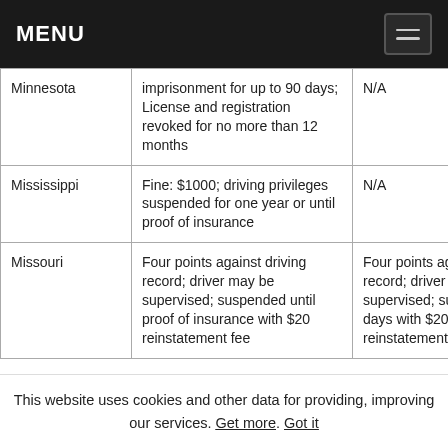MENU
| State | First Offense | Second Offense |
| --- | --- | --- |
| Minnesota | imprisonment for up to 90 days; License and registration revoked for no more than 12 months | N/A |
| Mississippi | Fine: $1000; driving privileges suspended for one year or until proof of insurance | N/A |
| Missouri | Four points against driving record; driver may be supervised; suspended until proof of insurance with $20 reinstatement fee | Four points against driving record; driver may be supervised; suspended 90 days with $200 reinstatement fee |
This website uses cookies and other data for providing, improving our services. Get more. Got it